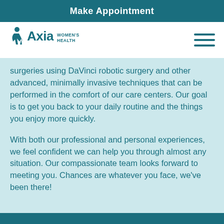Make Appointment
[Figure (logo): Axia Women's Health logo with stylized figure icon]
surgeries using DaVinci robotic surgery and other advanced, minimally invasive techniques that can be performed in the comfort of our care centers. Our goal is to get you back to your daily routine and the things you enjoy more quickly.
With both our professional and personal experiences, we feel confident we can help you through almost any situation. Our compassionate team looks forward to meeting you. Chances are whatever you face, we've been there!